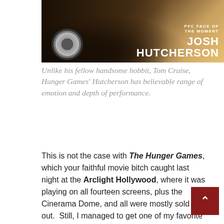[Figure (photo): Photo of Josh Hutcherson with text overlay 'PFC FACE OF THE MOMENT' and 'JOSH HUTCHERSON'. Dark sepia-toned image showing someone near a vintage car with a warm golden gradient.]
Unlike his fellow handsome hobbit, Tom Cruise, Hunger Games' Hutcherson has believable range of emotion and depth of performance.
This is not the case with The Hunger Games, which your faithful movie bitch caught last night at the Arclight Hollywood, where it was playing on all fourteen screens, plus the Cinerama Dome, and all were mostly sold out.  Still, I managed to get one of my favorite seats in the